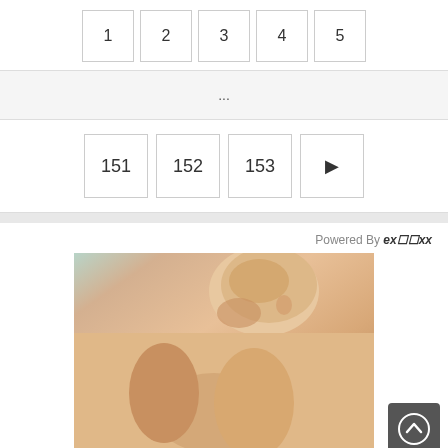1  2  3  4  5
...
151  152  153  ▶
Powered By excluxx
[Figure (photo): A photograph of a woman, partially visible, with blonde curly hair and dark painted fingernails.]